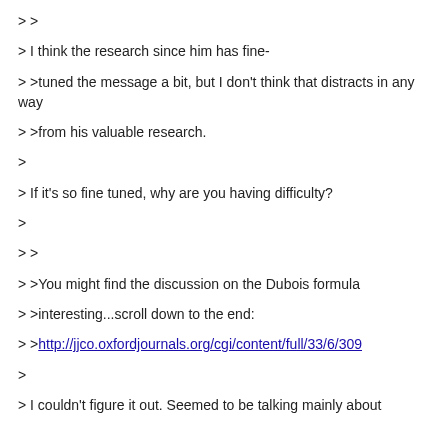> >
> I think the research since him has fine-
> >tuned the message a bit, but I don't think that distracts in any way
> >from his valuable research.
>
> If it's so fine tuned, why are you having difficulty?
>
> >
> >You might find the discussion on the Dubois formula
> >interesting...scroll down to the end:
> >http://jjco.oxfordjournals.org/cgi/content/full/33/6/309
>
> I couldn't figure it out. Seemed to be talking mainly about